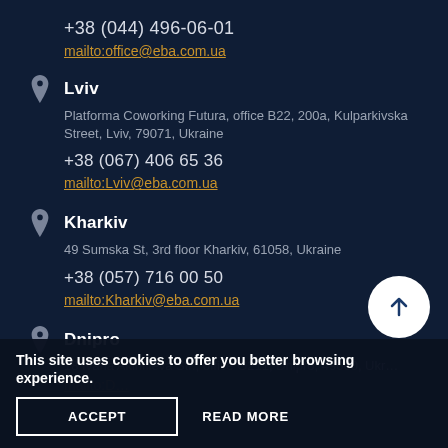+38 (044) 496-06-01
mailto:office@eba.com.ua
Lviv
Platforma Coworking Futura, office B22, 200a, Kulparkivska Street, Lviv, 79071, Ukraine
+38 (067) 406 65 36
mailto:Lviv@eba.com.ua
Kharkiv
49 Sumska St, 3rd floor Kharkiv, 61058, Ukraine
+38 (057) 716 00 50
mailto:Kharkiv@eba.com.ua
Dnipro
18 Ivana Akinfiieva Str., office G211, Dnipro, 49000, Ukr…
This site uses cookies to offer you better browsing experience.
ACCEPT
READ MORE